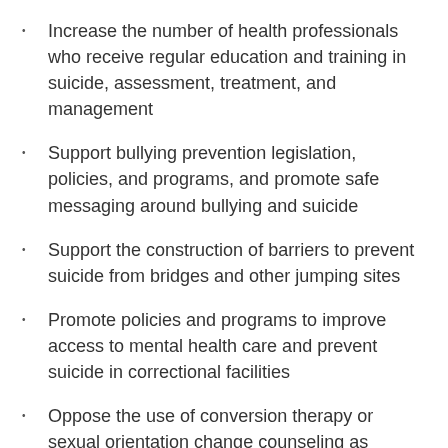Increase the number of health professionals who receive regular education and training in suicide, assessment, treatment, and management
Support bullying prevention legislation, policies, and programs, and promote safe messaging around bullying and suicide
Support the construction of barriers to prevent suicide from bridges and other jumping sites
Promote policies and programs to improve access to mental health care and prevent suicide in correctional facilities
Oppose the use of conversion therapy or sexual orientation change counseling as treatment for LGBTQ+ individuals
As you can see, although we place the strongest focus on